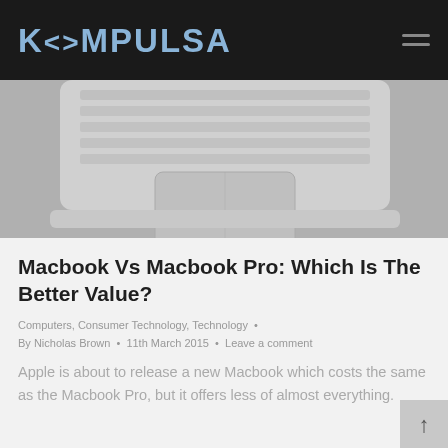KOMPULSA
[Figure (photo): Partial view of a MacBook laptop from above, showing keyboard and trackpad in silver/gray, on gray background]
Macbook Vs Macbook Pro: Which Is The Better Value?
Computers, Consumer Technology, Technology • By Nicholas Brown • 11th March 2015 • Leave a comment
Apple is about to release a new Macbook which costs the same as the Macbook Pro, but it offers less of almost everything.
[Figure (photo): Dark background image at bottom of page, partially visible, with colorful neon/purple lighting]